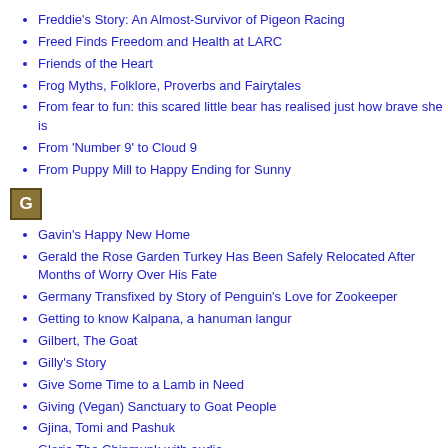Freddie's Story: An Almost-Survivor of Pigeon Racing
Freed Finds Freedom and Health at LARC
Friends of the Heart
Frog Myths, Folklore, Proverbs and Fairytales
From fear to fun: this scared little bear has realised just how brave she is
From 'Number 9' to Cloud 9
From Puppy Mill to Happy Ending for Sunny
[Figure (other): Letter G icon in olive/gold color block]
Gavin's Happy New Home
Gerald the Rose Garden Turkey Has Been Safely Relocated After Months of Worry Over His Fate
Germany Transfixed by Story of Penguin's Love for Zookeeper
Getting to know Kalpana, a hanuman langur
Gilbert, The Goat
Gilly's Story
Give Some Time to a Lamb in Need
Giving (Vegan) Sanctuary to Goat People
Gjina, Tomi and Pashuk
Gloria The Chipmunk with audio
God's Healing of an Animal
Goldie Boy's Last Visit with David
Good Neighbors